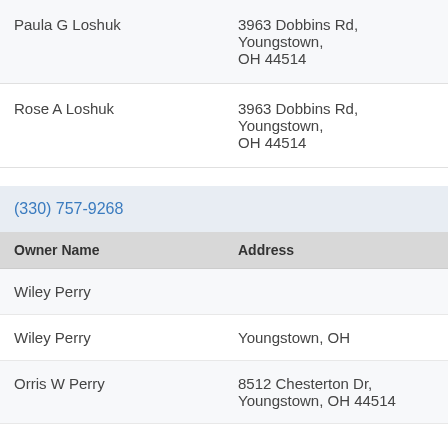| Name | Address |
| --- | --- |
| Paula G Loshuk | 3963 Dobbins Rd, Youngstown, OH 44514 |
| Rose A Loshuk | 3963 Dobbins Rd, Youngstown, OH 44514 |
(330) 757-9268
| Owner Name | Address |
| --- | --- |
| Wiley Perry |  |
| Wiley Perry | Youngstown, OH |
| Orris W Perry | 8512 Chesterton Dr, Youngstown, OH 44514 |